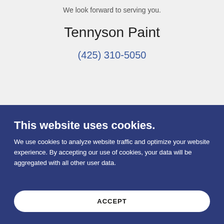We look forward to serving you.
Tennyson Paint
(425) 310-5050
This website uses cookies.
We use cookies to analyze website traffic and optimize your website experience. By accepting our use of cookies, your data will be aggregated with all other user data.
ACCEPT